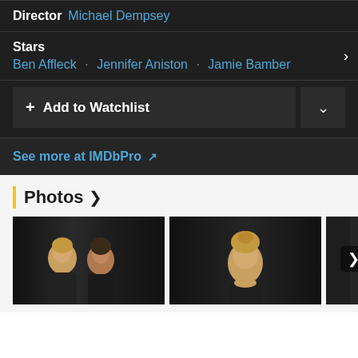Director  Michael Dempsey
Stars
Ben Affleck · Jennifer Aniston · Jamie Bamber
+ Add to Watchlist
See more at IMDbPro ↗
Photos >
[Figure (photo): Two women smiling at an event against a dark curtain background]
[Figure (photo): Woman with blonde updo at an event against a dark background]
[Figure (photo): Partially visible third photo with right navigation arrow]